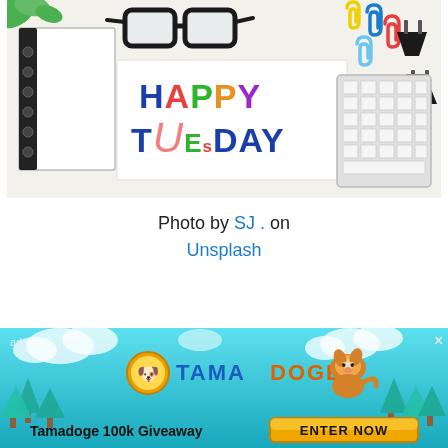[Figure (photo): A desk flat-lay photo showing a notebook, black-framed glasses, colorful paperclips, binder clips, keyboard, and a green plant; in the center is a sign reading 'HAPPY TUESDAY' in colorful letters.]
Photo by SJ . on Unsplash
Cheers.
[Figure (infographic): Tamadoge advertisement banner: teal/turquoise background with cloud and tree decorations, Tamadoge coin logo, dog cartoon, text 'Tamadoge 100k Giveaway' and yellow 'ENTER NOW' button. Labeled 'ad' with close X.]